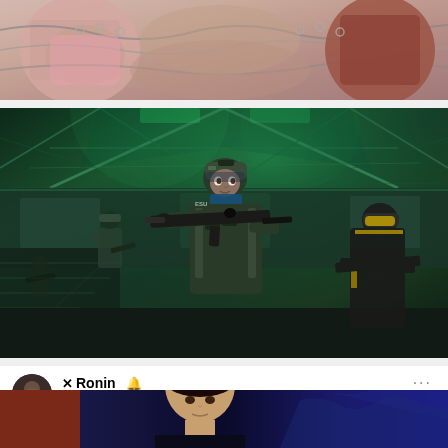[Figure (illustration): Anime/illustration style image showing characters with chains, partial view of figures in pink/brown tones, cropped at top]
[Figure (screenshot): Video game screenshot (Call of Duty style) showing military soldiers holding weapons in a green-lit indoor environment with glass ceiling structure]
XRonin @RoninShowGun
Holy moly! Ray Cooper the 3rd with a big comeback KO!!!!! #PFL #PFLChampionships
[Figure (photo): Photo of a man (TV host/commentator) in front of a blue background, partially cropped at bottom of page]